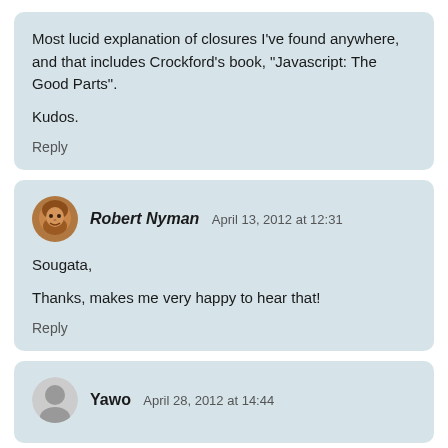Most lucid explanation of closures I've found anywhere, and that includes Crockford's book, "Javascript: The Good Parts".

Kudos.

Reply
Robert Nyman  April 13, 2012 at 12:31

Sougata,

Thanks, makes me very happy to hear that!

Reply
Yawo  April 28, 2012 at 14:44